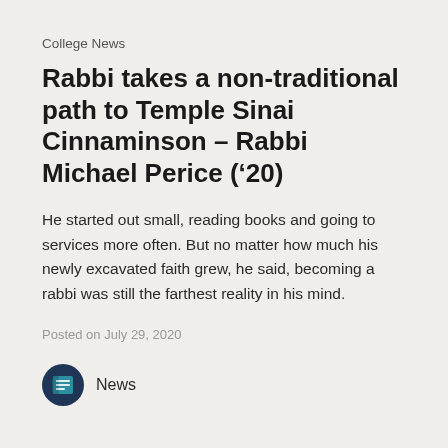College News
Rabbi takes a non-traditional path to Temple Sinai Cinnaminson - Rabbi Michael Perice ('20)
He started out small, reading books and going to services more often. But no matter how much his newly excavated faith grew, he said, becoming a rabbi was still the farthest reality in his mind.
Posted on July 29, 2020
[Figure (logo): News icon: dark navy circular badge with a newspaper/document icon in teal, labeled 'News']